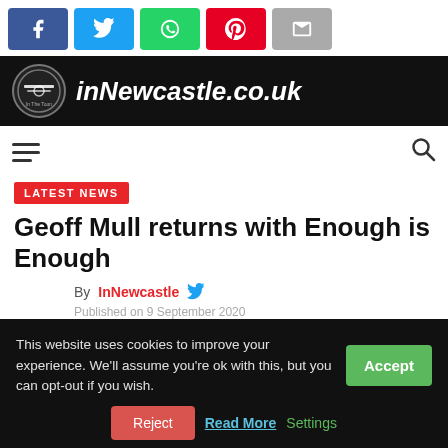[Figure (screenshot): Social media share buttons: Facebook, Twitter, WhatsApp, Pinterest, Email]
[Figure (logo): InNewcastle.co.uk website header banner with logo circle and site name in white italic text on black background]
[Figure (screenshot): Navigation bar with hamburger menu icon on left and search icon on right]
LATEST NEWS
Geoff Mull returns with Enough is Enough
By InNewcastle
Published on 9 September 2020
This website uses cookies to improve your experience. We'll assume you're ok with this, but you can opt-out if you wish. Accept
Reject Read More Settings